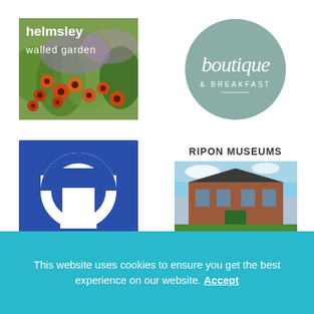[Figure (logo): Helmsley Walled Garden logo with flower garden photo background, text reads 'helmsley walled garden' in white]
[Figure (logo): Boutique & Breakfast logo: grey-green circle with cursive 'boutique' and '& BREAKFAST' text]
[Figure (logo): Top Tourist logo: blue square with white circle/T shape design and 'TOP TOURIST' text below]
[Figure (logo): Ripon Museums advertisement: building photo with 'RIPON MUSEUMS' header, phone 01765 690799, website www.riponmusums.co.uk]
This website uses cookies to ensure you get the best experience on our website. Accept